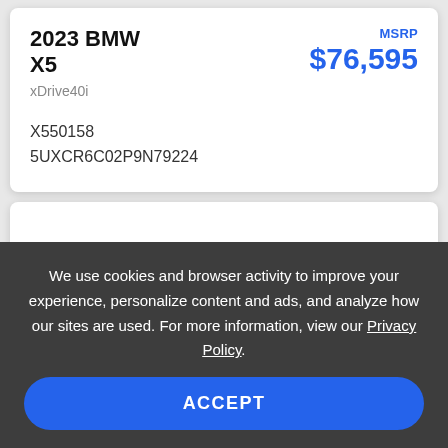2023 BMW X5
xDrive40i
MSRP $76,595
X550158
5UXCR6C02P9N79224
We use cookies and browser activity to improve your experience, personalize content and ads, and analyze how our sites are used. For more information, view our Privacy Policy.
ACCEPT